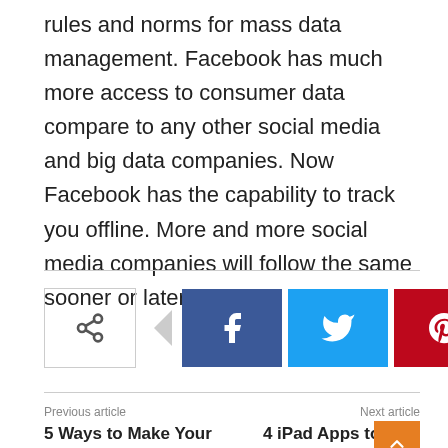rules and norms for mass data management. Facebook has much more access to consumer data compare to any other social media and big data companies. Now Facebook has the capability to track you offline. More and more social media companies will follow the same sooner or later.
[Figure (infographic): Social share buttons row: share icon box, Facebook (blue), Twitter (cyan), Pinterest (red), WhatsApp (green)]
Previous article
5 Ways to Make Your Computer Run Faster
Next article
4 iPad Apps to help Organise Your